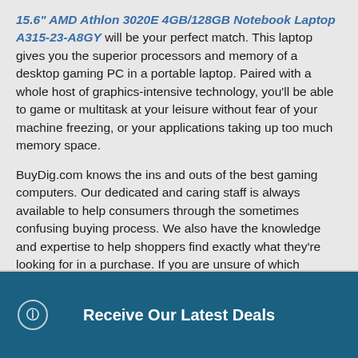15.6" AMD Athlon 3020E 4GB/128GB Notebook Laptop A315-23-A8GY will be your perfect match. This laptop gives you the superior processors and memory of a desktop gaming PC in a portable laptop. Paired with a whole host of graphics-intensive technology, you'll be able to game or multitask at your leisure without fear of your machine freezing, or your applications taking up too much memory space.
BuyDig.com knows the ins and outs of the best gaming computers. Our dedicated and caring staff is always available to help consumers through the sometimes confusing buying process. We also have the knowledge and expertise to help shoppers find exactly what they're looking for in a purchase. If you are unsure of which gaming setup to purchase, please try calling our customer service center, and they will be happy to help you decide on the right computer for your needs, and budget. If you have questions regarding our Gaming Computers, contact us today, and see how our appreciation of shoppers leads to better deals on some of the best products on the market.
Receive Our Latest Deals